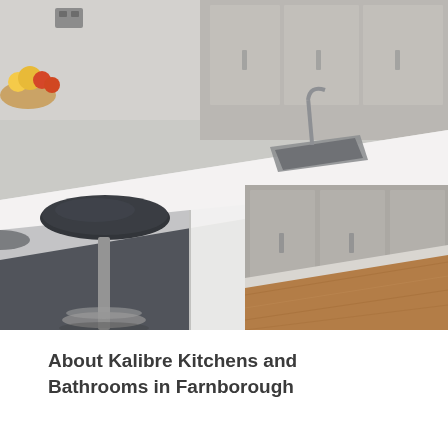[Figure (photo): Interior photo of a modern kitchen with a large white island countertop featuring a sink. There is a black bar stool in the foreground on the left, dark grey cabinetry on the island base, lighter grey upper cabinets in the background, and warm wood-tone flooring on the right side.]
About Kalibre Kitchens and Bathrooms in Farnborough